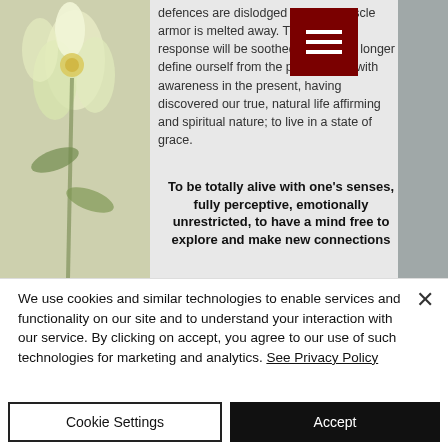[Figure (illustration): Website screenshot showing a partial page with floral image on left, text content in center-right area, a dark red hamburger menu button overlay, and a grey strip on the far right.]
defences are dislodged and the muscle armor is melted away. The somatic response will be soothed that we no longer define ourself from the past but live with awareness in the present, having discovered our true, natural life affirming and spiritual nature; to live in a state of grace.
To be totally alive with one's senses, fully perceptive, emotionally unrestricted, to have a mind free to explore and make new connections
We use cookies and similar technologies to enable services and functionality on our site and to understand your interaction with our service. By clicking on accept, you agree to our use of such technologies for marketing and analytics. See Privacy Policy